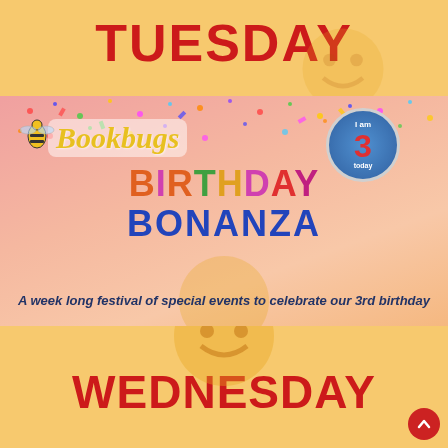TUESDAY
[Figure (illustration): Bookbugs Birthday Bonanza promotional graphic with colorful confetti background, Bookbugs logo with bee, '3 today' badge, and text 'BIRTHDAY BONANZA - A week long festival of special events to celebrate our 3rd birthday']
A week long festival of special events to celebrate our 3rd birthday
WEDNESDAY